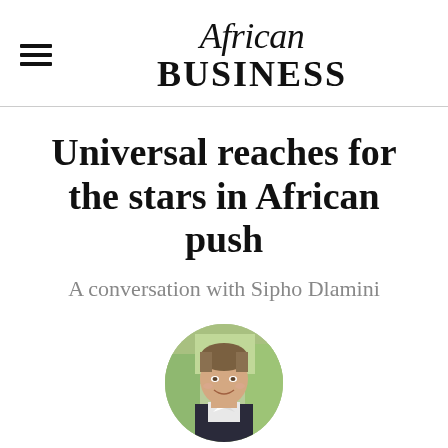African Business
Universal reaches for the stars in African push
A conversation with Sipho Dlamini
[Figure (photo): Circular portrait photo of a man (Sipho Dlamini) smiling, wearing a dark suit, with a green blurred outdoor background.]